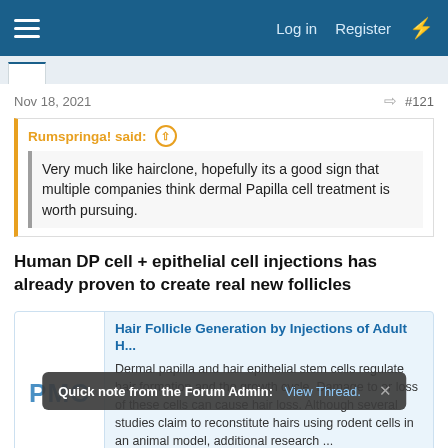Log in  Register
Nov 18, 2021  #121
Rumspringa! said: ↑
Very much like hairclone, hopefully its a good sign that multiple companies think dermal Papilla cell treatment is worth pursuing.
Human DP cell + epithelial cell injections has already proven to create real new follicles
[Figure (screenshot): PMC link card showing article 'Hair Follicle Generation by Injections of Adult H...' with description about dermal papilla and hair epithelial stem cells, URL www.ncbi.nlm.nih.gov]
No study has shown robust hair follicle formation with
Quick note from the Forum Admin: View Thread.